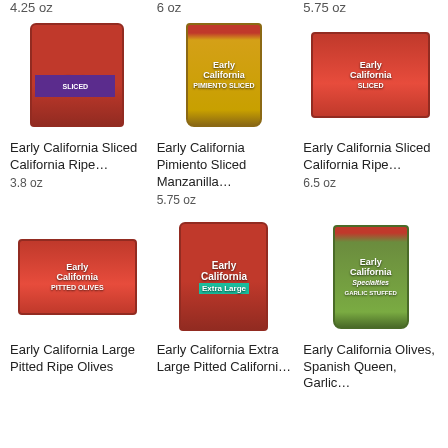4.25 oz
6 oz
5.75 oz
[Figure (photo): Early California Sliced California Ripe Olives can, red label with purple band]
[Figure (photo): Early California Pimiento Sliced Manzanilla olives glass jar]
[Figure (photo): Early California Sliced California Ripe Olives multi-pack red packaging]
Early California Sliced California Ripe…
3.8 oz
Early California Pimiento Sliced Manzanilla…
5.75 oz
Early California Sliced California Ripe…
6.5 oz
[Figure (photo): Early California Large Pitted Olives box, red packaging with '6' label]
[Figure (photo): Early California Extra Large Pitted California Ripe Olives can, teal label]
[Figure (photo): Early California Specialties Garlic Stuffed olives glass jar]
Early California Large Pitted Ripe Olives
Early California Extra Large Pitted Californi…
Early California Olives, Spanish Queen, Garlic…